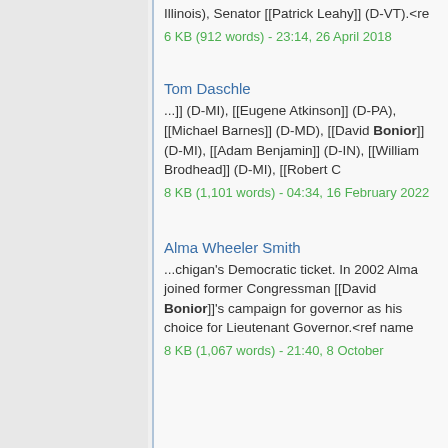Illinois), Senator [[Patrick Leahy]] (D-VT).<re
6 KB (912 words) - 23:14, 26 April 2018
Tom Daschle
...]] (D-MI), [[Eugene Atkinson]] (D-PA), [[Michael Barnes]] (D-MD), [[David Bonior]] (D-MI), [[Adam Benjamin]] (D-IN), [[William Brodhead]] (D-MI), [[Robert C
8 KB (1,101 words) - 04:34, 16 February 2022
Alma Wheeler Smith
...chigan's Democratic ticket. In 2002 Alma joined former Congressman [[David Bonior]]'s campaign for governor as his choice for Lieutenant Governor.<ref name
8 KB (1,067 words) - 21:40, 8 October